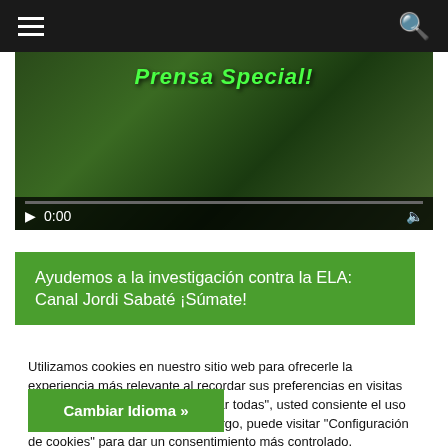Navigation bar with hamburger menu and search icon
[Figure (screenshot): Video player showing 'Prensa Social?' title overlay, paused at 0:00, with progress bar and controls on dark background with green leaf imagery]
Ayudemos a la investigación contra la ELA: Canal Jordi Sabaté ¡Súmate!
Utilizamos cookies en nuestro sitio web para ofrecerle la experiencia más relevante al recordar sus preferencias en visitas repetidas. Al hacer clic en "Aceptar todas", usted consiente el uso de TODAS las cookies. Sin embargo, puede visitar "Configuración de cookies" para dar un consentimiento más controlado.
Configuración de cookies
Aceptar todas
Cambiar Idioma »